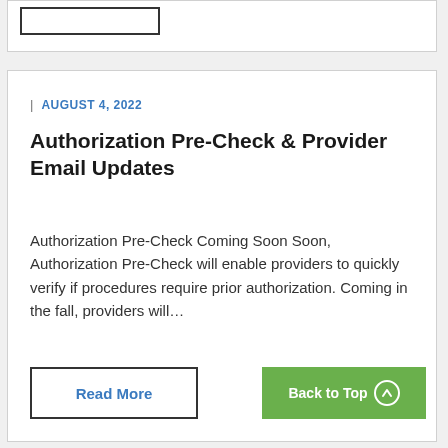AUGUST 4, 2022
Authorization Pre-Check & Provider Email Updates
Authorization Pre-Check Coming Soon Soon, Authorization Pre-Check will enable providers to quickly verify if procedures require prior authorization. Coming in the fall, providers will…
Read More
Back to Top